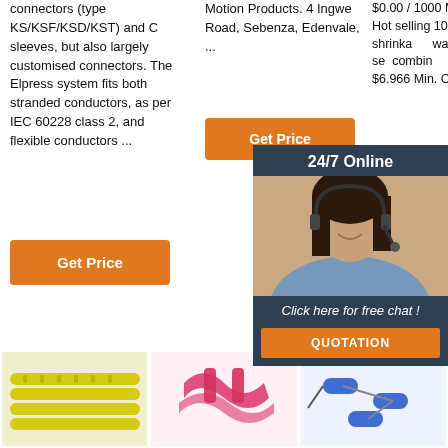connectors (type KS/KSF/KSD/KST) and C sleeves, but also largely customised connectors. The Elpress system fits both stranded conductors, as per IEC 60228 class 2, and flexible conductors ...
Motion Products. 4 Ingwe Road, Sebenza, Edenvale, ...
$0.00 / 1000 Min. Order: 450 Pieces; Hot selling 100pcs boxed heat shrinkable waterproof insulation tube set combination terminal Price: US $6.966 Min. Order: 100 Pieces...
[Figure (screenshot): 24/7 Online chat overlay with customer service representative photo, 'Click here for free chat!' text, and QUOTATION button]
[Figure (photo): Yellow heat shrink connectors/tubing strip]
[Figure (photo): Pink/red heat shrink connectors]
[Figure (photo): Blue wire connectors with cables]